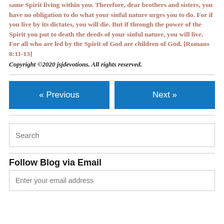same Spirit living within you. Therefore, dear brothers and sisters, you have no obligation to do what your sinful nature urges you to do. For if you live by its dictates, you will die. But if through the power of the Spirit you put to death the deeds of your sinful nature, you will live. For all who are led by the Spirit of God are children of God. [Romans 8:11-13]
Copyright ©2020 jsjdevotions. All rights reserved.
« Previous
Next »
Search
Follow Blog via Email
Enter your email address